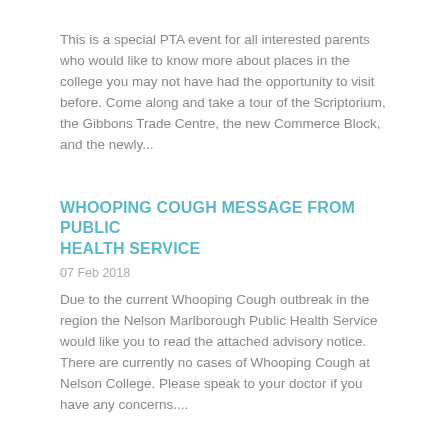This is a special PTA event for all interested parents who would like to know more about places in the college you may not have had the opportunity to visit before. Come along and take a tour of the Scriptorium, the Gibbons Trade Centre, the new Commerce Block, and the newly...
WHOOPING COUGH MESSAGE FROM PUBLIC HEALTH SERVICE
07 Feb 2018
Due to the current Whooping Cough outbreak in the region the Nelson Marlborough Public Health Service would like you to read the attached advisory notice. There are currently no cases of Whooping Cough at Nelson College. Please speak to your doctor if you have any concerns....
MUFTI DAY FOR GOOD FRIDAY 19TH MAY 2017
12 May 2017